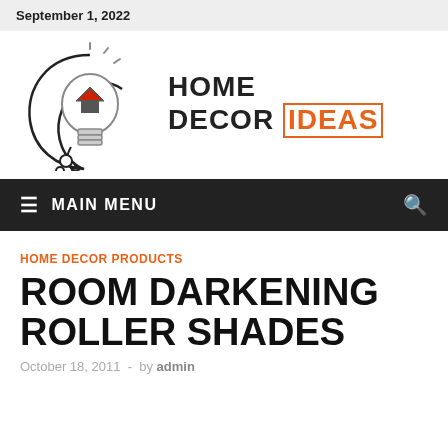September 1, 2022
[Figure (logo): Home Decor Ideas logo with lightbulb graphic and text 'HOME DECOR IDEAS']
MAIN MENU
HOME DECOR PRODUCTS
ROOM DARKENING ROLLER SHADES
October 18, 2011 - by admin